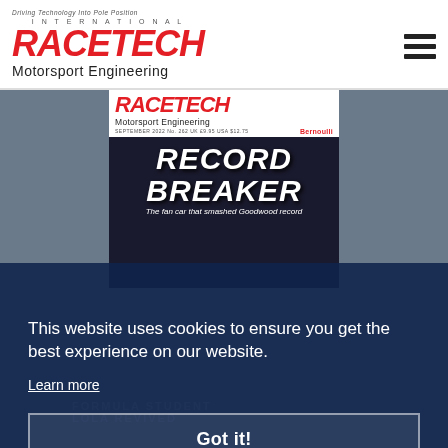[Figure (logo): Race Tech International Motorsport Engineering magazine logo with tagline 'Driving Technology Into Pole Position' and hamburger menu icon]
[Figure (photo): Race Tech magazine September 2022 cover featuring 'Record Breaker' headline about the fan car that smashed Goodwood record, over a blurred outdoor background]
This website uses cookies to ensure you get the best experience on our website.
Learn more
Got it!